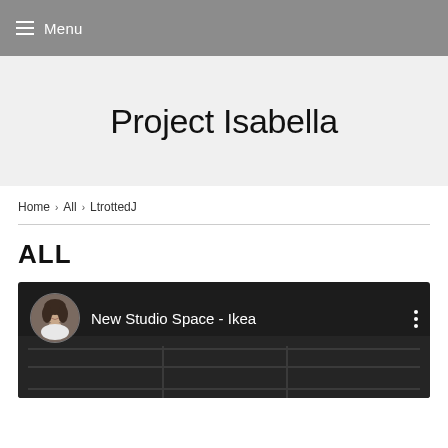Menu
Project Isabella
Home › All › LtrottedJ
ALL
[Figure (screenshot): Video thumbnail showing 'New Studio Space - Ikea' with a circular avatar photo of a woman with curly hair on a dark background with shelving units visible]